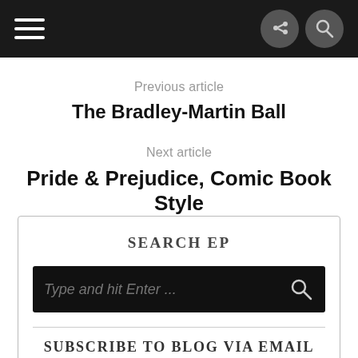Navigation bar with hamburger menu, share icon, and search icon
Previous article
The Bradley-Martin Ball
Next article
Pride & Prejudice, Comic Book Style
SEARCH EP
Type and hit Enter ...
SUBSCRIBE TO BLOG VIA EMAIL